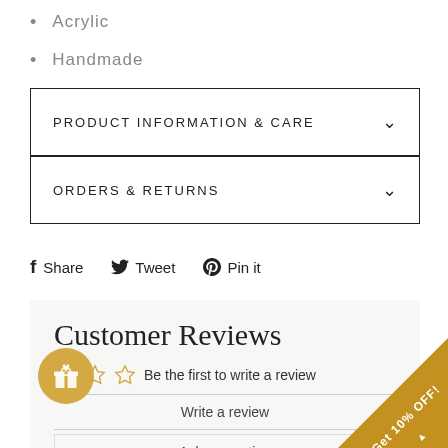Acrylic
Handmade
PRODUCT INFORMATION & CARE
ORDERS & RETURNS
Share  Tweet  Pin it
Customer Reviews
Be the first to write a review
Write a review
Ask a question
[Figure (other): Gold circular gift badge icon]
[Figure (other): Corner ribbon banner reading Get 10% OFF!]